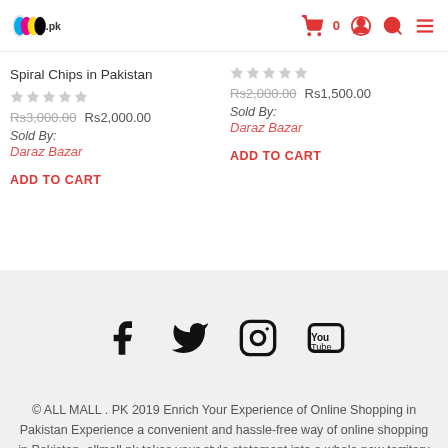allmall.pk header with logo and navigation icons
Spiral Chips in Pakistan
Rs3,000.00  Rs2,000.00
Sold By: Daraz Bazar
ADD TO CART
Rs2,000.00  Rs1,500.00
Sold By: Daraz Bazar
ADD TO CART
[Figure (infographic): Social media icons: Facebook, Twitter, Instagram, YouTube]
© ALL MALL . PK 2019 Enrich Your Experience of Online Shopping in Pakistan Experience a convenient and hassle-free way of online shopping in Pakistan. allmall.pk takes your style statement into a whole new territory by placing an extensive variety of top-class brands on its online shopping